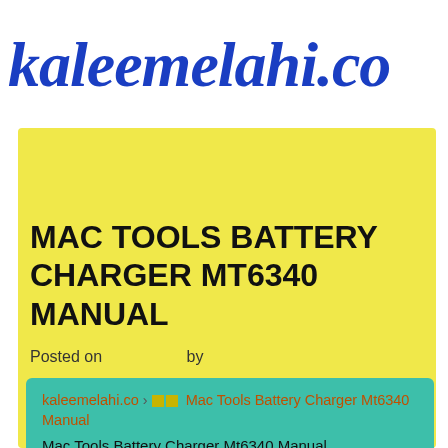kaleemelahi.co
MAC TOOLS BATTERY CHARGER MT6340 MANUAL
Posted on    by
kaleemelahi.co › ■ ■ Mac Tools Battery Charger Mt6340 Manual
Mac Tools Battery Charger Mt6340 Manual
Average ratng: 5,7/10 156 reviews